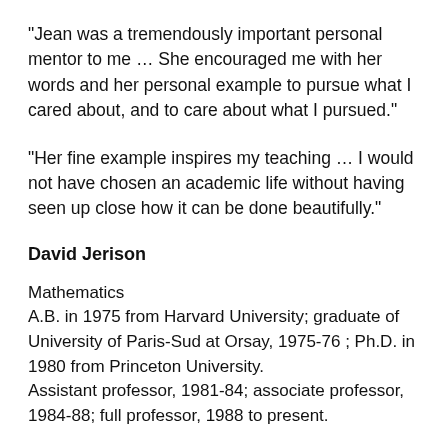"Jean was a tremendously important personal mentor to me … She encouraged me with her words and her personal example to pursue what I cared about, and to care about what I pursued."
"Her fine example inspires my teaching … I would not have chosen an academic life without having seen up close how it can be done beautifully."
David Jerison
Mathematics
A.B. in 1975 from Harvard University; graduate of University of Paris-Sud at Orsay, 1975-76 ; Ph.D. in 1980 from Princeton University.
Assistant professor, 1981-84; associate professor, 1984-88; full professor, 1988 to present.